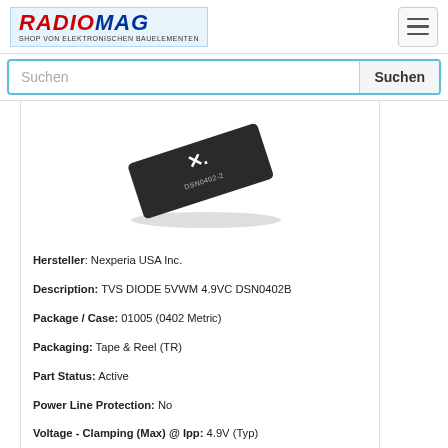RADIOMAG - SHOP VON ELEKTRONISCHEN BAUELEMENTEN
[Figure (photo): Black rectangular SMD component package labeled with Nexperia X. logo and DSN0402-2 text, shown at an angle.]
Hersteller: Nexperia USA Inc.
Description: TVS DIODE 5VWM 4.9VC DSN0402B
Package / Case: 01005 (0402 Metric)
Packaging: Tape & Reel (TR)
Part Status: Active
Power Line Protection: No
Voltage - Clamping (Max) @ Ipp: 4.9V (Typ)
Voltage - Breakdown (Min): 9V (Typ)
Bidirectional Channels: 1
Supplier Device Package: DSN0402B
Voltage - Reverse Standoff (Typ): 5V (Max)
Current - Peak Pulse (10/1000µs): 7A (8/20µs)
Capacitance @ Frequency: 0.17pF @ 1MHz
Applications: Telecom
Operating Temperature: -40°C ~ 125°C (TA)